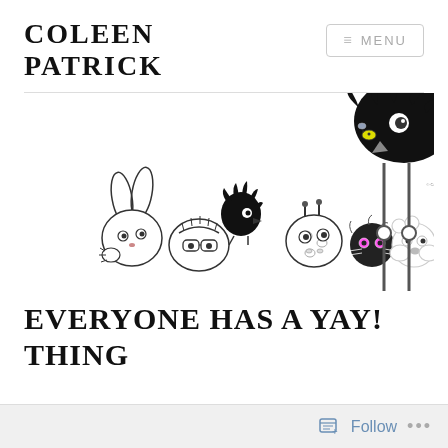COLEEN PATRICK
≡ MENU
[Figure (illustration): Whimsical black and white cartoon illustration of a group of animals and a child peeking from behind or over a surface. Characters include a rabbit, a child with glasses, a bird, a giraffe, a fluffy cat, a polar bear, and a large ostrich/bird hanging from the top right. Copyright mark reads: © Coleen Patrick]
EVERYONE HAS A YAY! THING
Follow ...